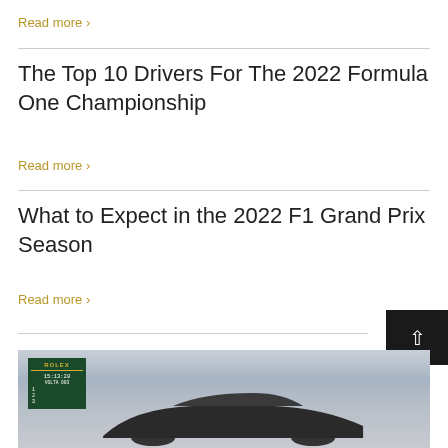Read more ›
The Top 10 Drivers For The 2022 Formula One Championship
Read more ›
What to Expect in the 2022 F1 Grand Prix Season
Read more ›
[Figure (photo): A Formula One race car on track with a Rolex timing board visible, cloudy sky in the background]